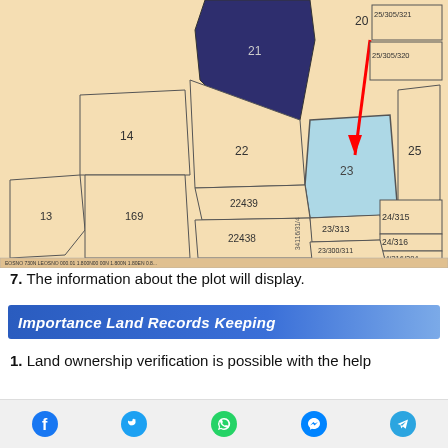[Figure (map): Land parcel map showing numbered plots. A light blue highlighted parcel (23) is indicated by a red arrow. Other parcels include numbers 13, 14, 20, 21, 22, 25, 169, 22439, 22438, 23/313, 23/300/311, 24/315, 24/316, 24/316/384, 25/305/321, 25/305/320, and a dark navy blue parcel (21). Background is tan/wheat color.]
7. The information about the plot will display.
Importance Land Records Keeping
1. Land ownership verification is possible with the help